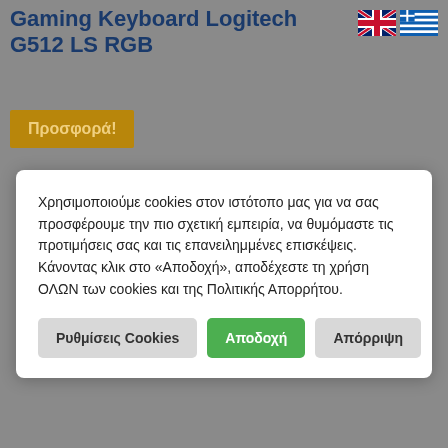Gaming Keyboard Logitech G512 LS RGB
[Figure (illustration): UK and Greek flag icons in top-right corner]
Προσφορά!
Χρησιμοποιούμε cookies στον ιστότοπο μας για να σας προσφέρουμε την πιο σχετική εμπειρία, να θυμόμαστε τις προτιμήσεις σας και τις επανειλημμένες επισκέψεις. Κάνοντας κλικ στο «Αποδοχή», αποδέχεστε τη χρήση ΟΛΩΝ των cookies και της Πολιτικής Απορρήτου.
Ρυθμίσεις Cookies | Αποδοχή | Απόρριψη